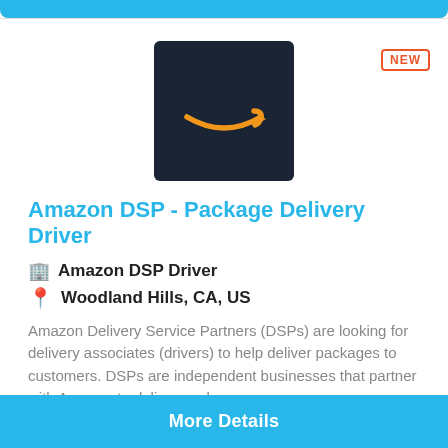[Figure (logo): Amazon logo: dark navy square with orange arrow/smile graphic]
Amazon DSP - Package Delivery Driver
Amazon DSP Driver
Woodland Hills, CA, US
Amazon Delivery Service Partners (DSPs) are looking for delivery associates (drivers) to help deliver packages to customers. DSPs are independent businesses that partner with Amazon to deliver package...
More Details